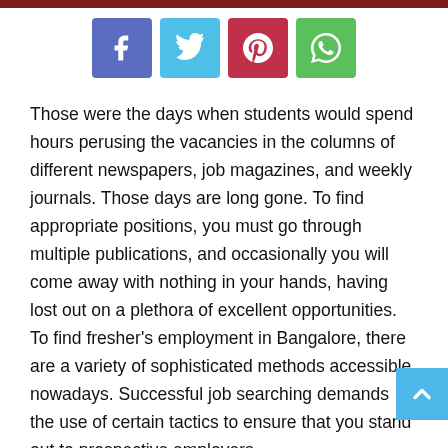[Figure (infographic): Four social media share buttons: Facebook (blue-purple), Twitter (light blue), Pinterest (red), WhatsApp (green)]
Those were the days when students would spend hours perusing the vacancies in the columns of different newspapers, job magazines, and weekly journals. Those days are long gone. To find appropriate positions, you must go through multiple publications, and occasionally you will come away with nothing in your hands, having lost out on a plethora of excellent opportunities. To find fresher's employment in Bangalore, there are a variety of sophisticated methods accessible nowadays. Successful job searching demands the use of certain tactics to ensure that you stand out to prospective employers.
In today's competitive marketplaces, taking into account both the...